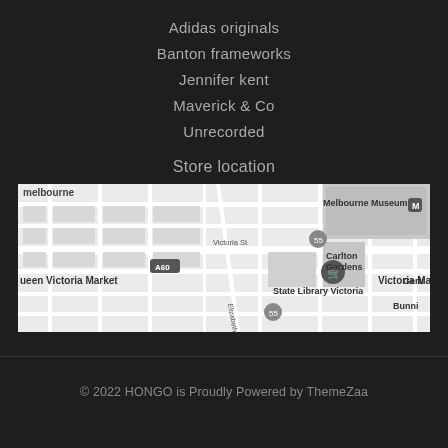Adidas originals
Banton frameworks
Jennifer kent
Maverick & Co
Unrecorded
Store location
[Figure (map): Google Maps view centered on Melbourne CBD showing Melbourne Museum, Victoria Market, Queen Victoria Market, Carlton Gardens, State Library Victoria, and surrounding streets.]
© 2022 HONGO is Proudly Powered by ThemeZaa